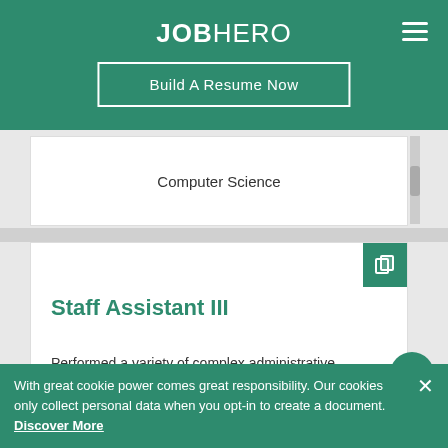JOBHERO
Build A Resume Now
Computer Science
Staff Assistant III
Performed a variety of complex administrative support duties to coordinate the day to day operations for the Real Estate Acquisitions Division. Supported 2
With great cookie power comes great responsibility. Our cookies only collect personal data when you opt-in to create a document. Discover More